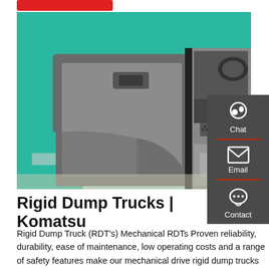[Figure (photo): Close-up photo of a teal/turquoise Komatsu rigid dump truck cab door open, showing gray interior door panel and cab interior with pedals visible.]
Rigid Dump Trucks | Komatsu
Rigid Dump Truck (RDT's) Mechanical RDTs Proven reliability, durability, ease of maintenance, low operating costs and a range of safety features make our mechanical drive rigid dump trucks the trucks of choice for mining and quarrying applications across